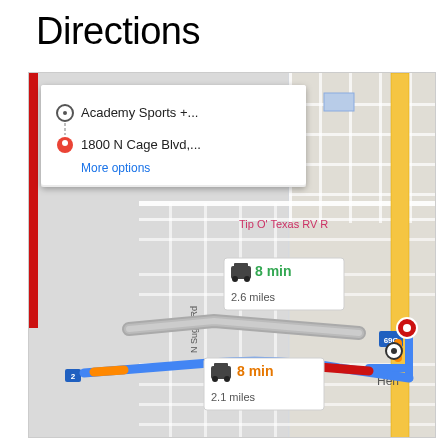Directions
[Figure (map): Google Maps screenshot showing directions in Pharr/McAllen Texas area. Two route options shown: one taking 8 min / 2.6 miles via N Sugar Rd, and another taking 8 min / 2.1 miles via a highway route (marked with blue route line). A directions card overlays the top-left of the map showing: origin 'Academy Sports +...' and destination '1800 N Cage Blvd,...' with a 'More options' link. Map shows streets including N Sugar Rd, highway 69C, highway 2, and 'Tip O Texas RV R' label in pink. A red bar is visible on the left edge of the map.]